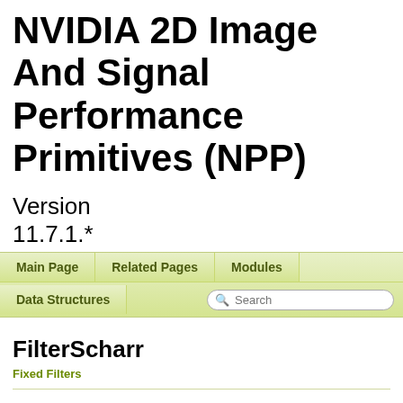NVIDIA 2D Image And Signal Performance Primitives (NPP) Version 11.7.1.*
[Figure (screenshot): Navigation bar with tabs: Main Page, Related Pages, Modules, Data Structures, and a Search box. Green gradient background.]
FilterScharr
Fixed Filters
Filters the image using a Scharr filter kernel. More...
FilterScharrHoriz